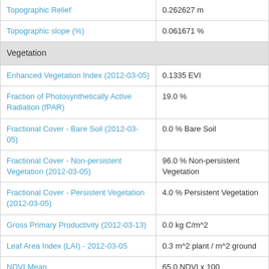| Property | Value |
| --- | --- |
| Topographic Relief | 0.262627 m |
| Topographic slope (%) | 0.061671 % |
| Vegetation |  |
| Enhanced Vegetation Index (2012-03-05) | 0.1335 EVI |
| Fraction of Photosynthetically Active Radiation (fPAR) | 19.0 % |
| Fractional Cover - Bare Soil (2012-03-05) | 0.0 % Bare Soil |
| Fractional Cover - Non-persistent Vegetation (2012-03-05) | 96.0 % Non-persistent Vegetation |
| Fractional Cover - Persistent Vegetation (2012-03-05) | 4.0 % Persistent Vegetation |
| Gross Primary Productivity (2012-03-13) | 0.0 kg C/m^2 |
| Leaf Area Index (LAI) - 2012-03-05 | 0.3 m^2 plant / m^2 ground |
| NDVI Mean | 65.0 NDVI x 100 |